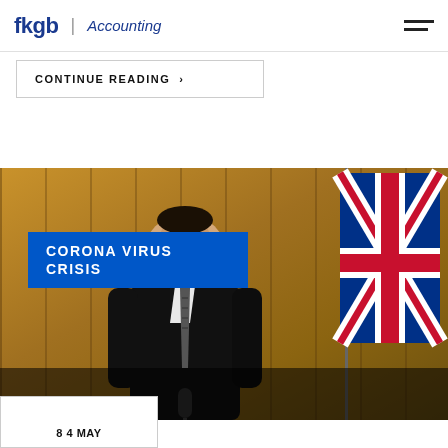fkgb | Accounting
CONTINUE READING >
[Figure (photo): A man in a dark suit and striped tie speaking at a podium, with wood-paneled walls and a Union Jack flag in the background. A blue banner overlays the image with the text 'CORONA VIRUS CRISIS'.]
CORONA VIRUS CRISIS
8 4 MAY